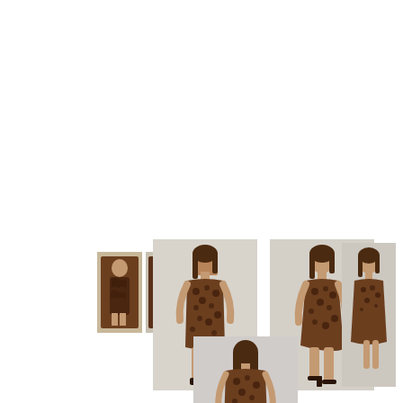[Figure (photo): Two small thumbnail images of a woman wearing a dark brown patterned mini dress, shown front and side/back views]
[Figure (photo): Full-length photo of a woman wearing a brown animal-print halter mini dress, front view, standing on light grey background]
[Figure (photo): Full-length photo of a woman wearing a brown animal-print halter mini dress, three-quarter side view, standing on light grey background]
[Figure (photo): Full-length photo of a woman wearing a brown animal-print halter mini dress, close-up upper body front view, standing on light grey background]
[Figure (photo): Full-length photo of a woman wearing a brown animal-print halter mini dress, back view, standing on light grey background]